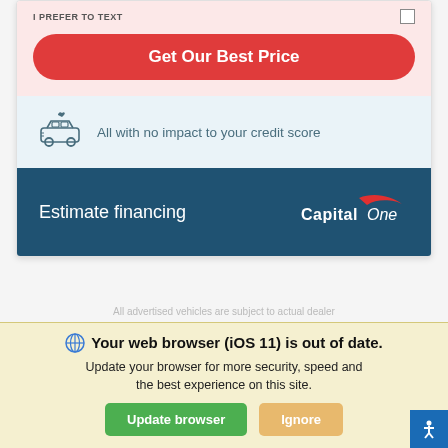I PREFER TO TEXT
Get Our Best Price
All with no impact to your credit score
Estimate financing
[Figure (logo): Capital One logo in white on dark teal background]
All advertised vehicles are subject to actual dealer
Your web browser (iOS 11) is out of date. Update your browser for more security, speed and the best experience on this site.
Update browser
Ignore